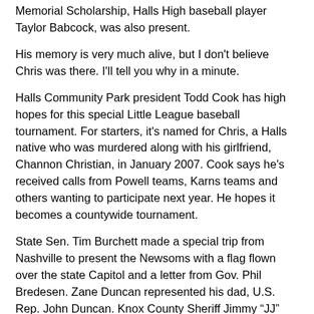Memorial Scholarship, Halls High baseball player Taylor Babcock, was also present.
His memory is very much alive, but I don't believe Chris was there. I'll tell you why in a minute.
Halls Community Park president Todd Cook has high hopes for this special Little League baseball tournament. For starters, it's named for Chris, a Halls native who was murdered along with his girlfriend, Channon Christian, in January 2007. Cook says he's received calls from Powell teams, Karns teams and others wanting to participate next year. He hopes it becomes a countywide tournament.
State Sen. Tim Burchett made a special trip from Nashville to present the Newsoms with a flag flown over the state Capitol and a letter from Gov. Phil Bredesen. Zane Duncan represented his dad, U.S. Rep. John Duncan. Knox County Sheriff Jimmy “JJ” Jones showed up to pay his respects, too.
As the sky began to gray, and the wind began to blow, and the young baseball players placed their caps over their